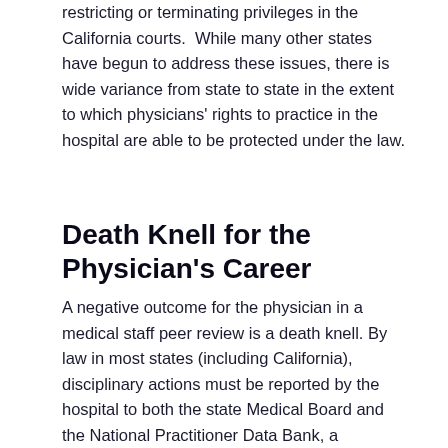restricting or terminating privileges in the California courts. While many other states have begun to address these issues, there is wide variance from state to state in the extent to which physicians' rights to practice in the hospital are able to be protected under the law.
Death Knell for the Physician's Career
A negative outcome for the physician in a medical staff peer review is a death knell. By law in most states (including California), disciplinary actions must be reported by the hospital to both the state Medical Board and the National Practitioner Data Bank, a nationwide database accessible to hospitals and managed care organizations. The state Medical Board may commence its own investigation, finding the physician an easy target because damning evidence has already been compiled in the medical staff hearing. Although the Medical Board may decide not to prosecute, it will do nothing to aid the